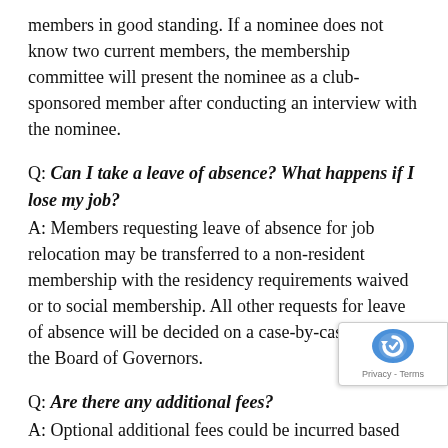members in good standing. If a nominee does not know two current members, the membership committee will present the nominee as a club-sponsored member after conducting an interview with the nominee.
Q: Can I take a leave of absence? What happens if I lose my job?
A: Members requesting leave of absence for job relocation may be transferred to a non-resident membership with the residency requirements waived or to social membership. All other requests for leave of absence will be decided on a case-by-case basis by the Board of Governors.
Q: Are there any additional fees?
A: Optional additional fees could be incurred based on membership category for cart rentals, swim & tennis usage, driving range usage, guest fees and handicap system fees. These are examples of possible fees. Other fees may exist. All first-year members are exempt from